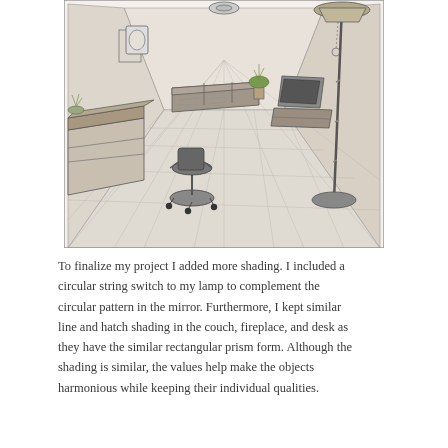[Figure (illustration): A pencil sketch drawing of a room interior in one-point perspective. The room contains a reception desk on the left with plants on top, an office chair in the foreground, a couch and fireplace in the background center, a TV console on the right wall, and a tall floor lamp on the far right. The floor has a tile/diamond grid pattern drawn in perspective. The ceiling has a circular light fixture at the top center. Shading is done with hatching and cross-hatching techniques.]
To finalize my project I added more shading. I included a circular string switch to my lamp to complement the circular pattern in the mirror. Furthermore, I kept similar line and hatch shading in the couch, fireplace, and desk as they have the similar rectangular prism form. Although the shading is similar, the values help make the objects harmonious while keeping their individual qualities.